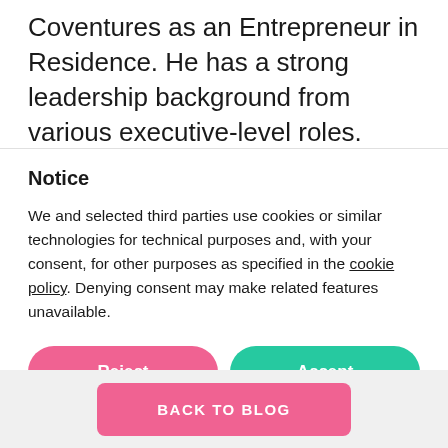Coventures as an Entrepreneur in Residence. He has a strong leadership background from various executive-level roles. Petri has built his
Notice
We and selected third parties use cookies or similar technologies for technical purposes and, with your consent, for other purposes as specified in the cookie policy. Denying consent may make related features unavailable.
Reject
Accept
Learn more and customize
BACK TO BLOG